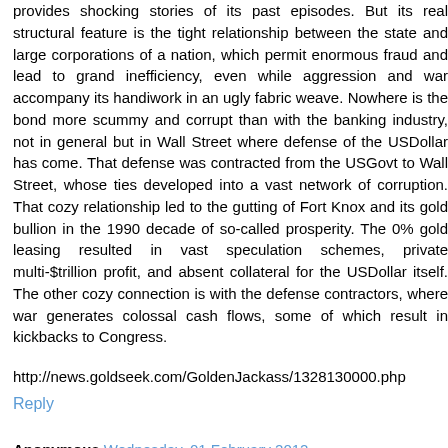provides shocking stories of its past episodes. But its real structural feature is the tight relationship between the state and large corporations of a nation, which permit enormous fraud and lead to grand inefficiency, even while aggression and war accompany its handiwork in an ugly fabric weave. Nowhere is the bond more scummy and corrupt than with the banking industry, not in general but in Wall Street where defense of the USDollar has come. That defense was contracted from the USGovt to Wall Street, whose ties developed into a vast network of corruption. That cozy relationship led to the gutting of Fort Knox and its gold bullion in the 1990 decade of so-called prosperity. The 0% gold leasing resulted in vast speculation schemes, private multi-$trillion profit, and absent collateral for the USDollar itself. The other cozy connection is with the defense contractors, where war generates colossal cash flows, some of which result in kickbacks to Congress.
http://news.goldseek.com/GoldenJackass/1328130000.php
Reply
Anonymous Wednesday, 01 February 2012